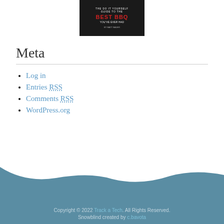[Figure (illustration): Book cover image with dark background showing 'GUIDE TO THE BEST BBQ YOU'VE EVER HAD' in white and red text]
Meta
Log in
Entries RSS
Comments RSS
WordPress.org
Copyright © 2022 Track a Tech. All Rights Reserved. Snowblind created by c.bavota